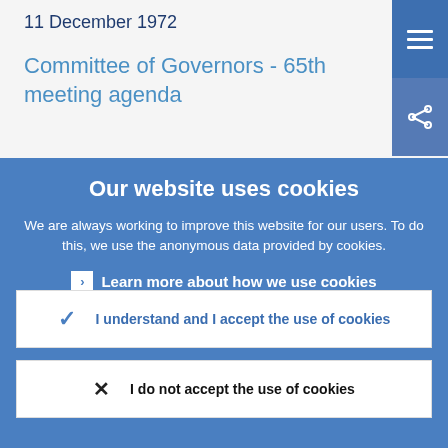11 December 1972
Committee of Governors - 65th meeting agenda
Our website uses cookies
We are always working to improve this website for our users. To do this, we use the anonymous data provided by cookies.
Learn more about how we use cookies
I understand and I accept the use of cookies
I do not accept the use of cookies